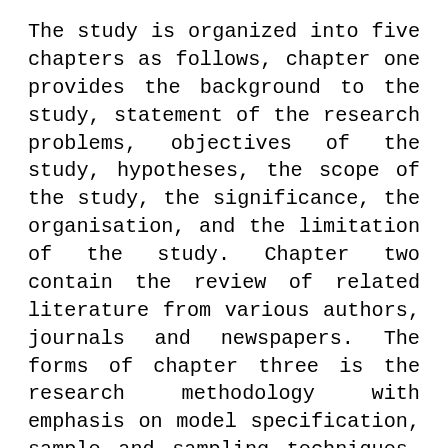The study is organized into five chapters as follows, chapter one provides the background to the study, statement of the research problems, objectives of the study, hypotheses, the scope of the study, the significance, the organisation, and the limitation of the study. Chapter two contain the review of related literature from various authors, journals and newspapers. The forms of chapter three is the research methodology with emphasis on model specification, sample and sampling techniques, analytical tools, data collection and data analysis Chapter four is concerned with data analysis as well as the various data presentation techniques to be used. The summary and conclusion from the study, recommendations offered and